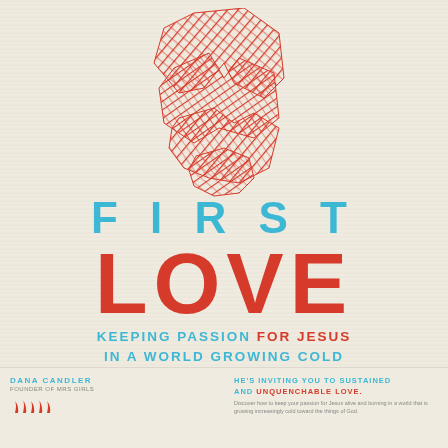[Figure (illustration): Abstract flame-like illustration made of red cross-hatched angular geometric shapes, resembling a stylized flame or fire]
FIRST LOVE
KEEPING PASSION FOR JESUS IN A WORLD GROWING COLD
DANA CANDLER
FOUNDER OF MRS GIRLS
HE'S INVITING YOU TO SUSTAINED AND UNQUENCHABLE LOVE.